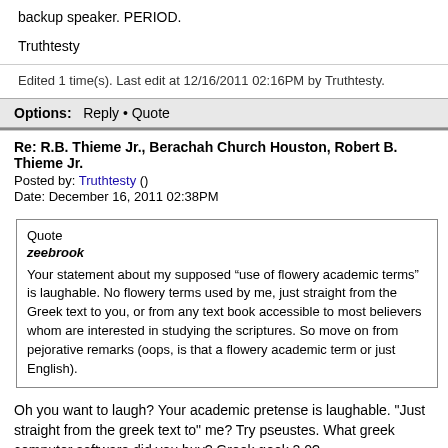backup speaker. PERIOD.
Truthtesty
Edited 1 time(s). Last edit at 12/16/2011 02:16PM by Truthtesty.
Options:   Reply • Quote
Re: R.B. Thieme Jr., Berachah Church Houston, Robert B. Thieme Jr.
Posted by: Truthtesty ()
Date: December 16, 2011 02:38PM
Quote
zeebrook
Your statement about my supposed "use of flowery academic terms" is laughable. No flowery terms used by me, just straight from the Greek text to you, or from any text book accessible to most believers whom are interested in studying the scriptures. So move on from pejorative remarks (oops, is that a flowery academic term or just English).
Oh you want to laugh? Your academic pretense is laughable. "Just straight from the greek text to" me? Try pseustes. What greek computer software did you buy? Greek geek 2.0?
Truthtesty